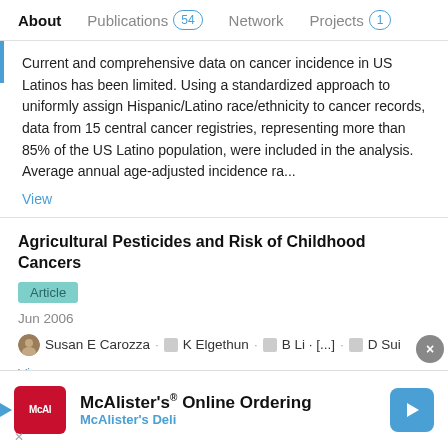About   Publications 54   Network   Projects 1
Current and comprehensive data on cancer incidence in US Latinos has been limited. Using a standardized approach to uniformly assign Hispanic/Latino race/ethnicity to cancer records, data from 15 central cancer registries, representing more than 85% of the US Latino population, were included in the analysis. Average annual age-adjusted incidence ra...
View
Agricultural Pesticides and Risk of Childhood Cancers
Article
Jun 2006
Susan E Carozza · K Elgethun · B Li · [...] · D Sui
View
Advertisement
Underage driving as an indicator of risky behavior in
[Figure (screenshot): McAlister's Online Ordering advertisement banner with McAlister's Deli logo and navigation arrow]